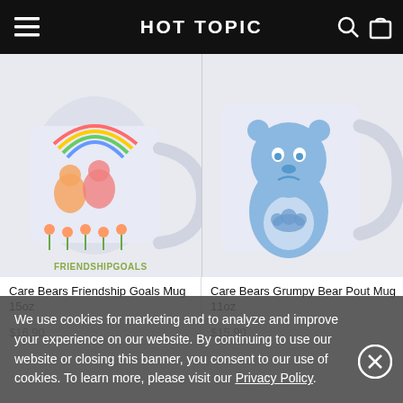HOT TOPIC
[Figure (photo): Care Bears Friendship Goals Mug 15oz - white mug with colorful Care Bears and rainbow design, text 'FRIENDSHIPGOALS']
[Figure (photo): Care Bears Grumpy Bear Pout Mug 11oz - white mug with blue Grumpy Bear illustration]
Care Bears Friendship Goals Mug 15oz
Care Bears Grumpy Bear Pout Mug 11oz
$16.90
$15.90
We use cookies for marketing and to analyze and improve your experience on our website. By continuing to use our website or closing this banner, you consent to our use of cookies. To learn more, please visit our Privacy Policy.